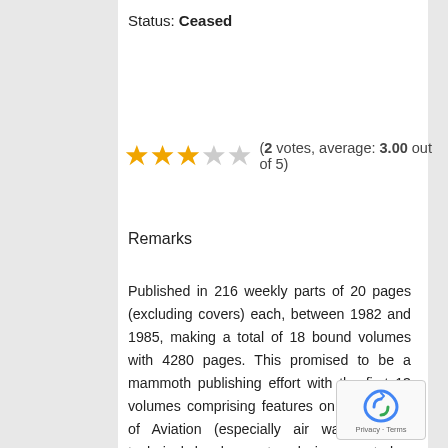Status: Ceased
[Figure (other): Star rating: 3 filled stars and 2 empty stars, with text '(2 votes, average: 3.00 out of 5)']
Remarks
[Figure (photo): Book cover of 'The Illustrated Encyclopedia of Aircraft' showing aircraft illustrations on a red and yellow cover]
Published in 216 weekly parts of 20 pages (excluding covers) each, between 1982 and 1985, making a total of 18 bound volumes with 4280 pages. This promised to be a mammoth publishing effort with the first 13 volumes comprising features on the History of Aviation (especially air wars, aircraft technical development and air power today, with a little bit on civil aviation), profiles of major aircraft types (World's Greatest Aircraft), and a detailed A-Z of aircraft.
The first part of the A-Z was much more detailed than the remainder, with the letters taking 10 volumes and M-Z taking only volumes. In the later stages many multi-type